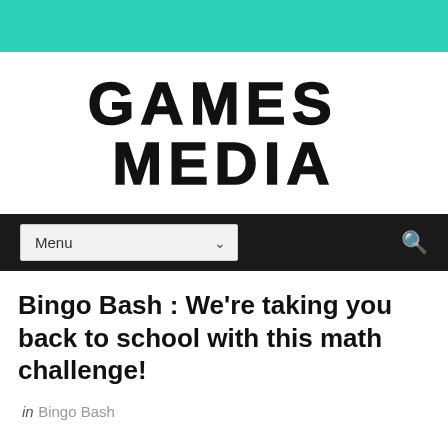GAMES MEDIA
[Figure (other): Navigation bar with Menu dropdown and search icon on dark background]
Bingo Bash : We're taking you back to school with this math challenge!
in Bingo Bash